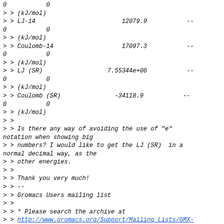0           0
> > (kJ/mol)
> > LJ-14                        12079.9           --
0           0
> > (kJ/mol)
> > Coulomb-14                   17097.3           --
0           0
> > (kJ/mol)
> > LJ (SR)                  7.55344e+06           --
0           0
> > (kJ/mol)
> > Coulomb (SR)               -34118.9           --
0           0
> > (kJ/mol)
> >
> > Is there any way of avoiding the use of "e" notation when showing big
> > numbers? I would like to get the LJ (SR)  in a normal decimal way, as the
> > other energies.
> >
> > Thank you very much!
> > --
> > Gromacs Users mailing list
> >
> > * Please search the archive at
> > http://www.gromacs.org/Support/Mailing_Lists/GMX-Users_List before
> > posting!
> >